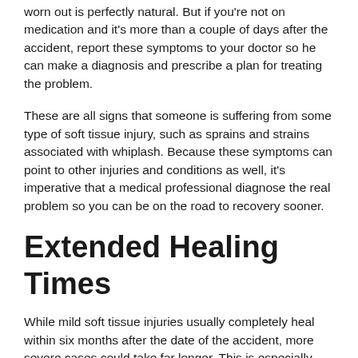worn out is perfectly natural. But if you're not on medication and it's more than a couple of days after the accident, report these symptoms to your doctor so he can make a diagnosis and prescribe a plan for treating the problem.
These are all signs that someone is suffering from some type of soft tissue injury, such as sprains and strains associated with whiplash. Because these symptoms can point to other injuries and conditions as well, it's imperative that a medical professional diagnose the real problem so you can be on the road to recovery sooner.
Extended Healing Times
While mild soft tissue injuries usually completely heal within six months after the date of the accident, more severe cases could take far longer. This is especially true if there are